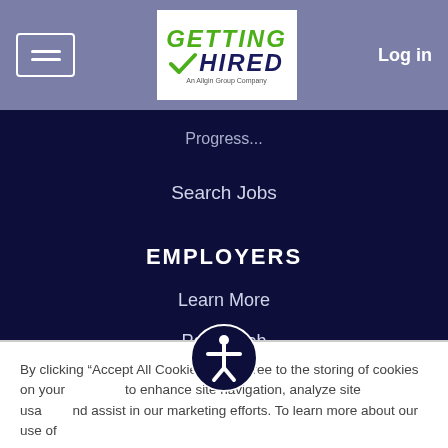Log in
[Figure (logo): Getting Hired logo with green checkmark, An Allgin Group Company]
Search Jobs
EMPLOYERS
Learn More
Post a Job
Search Resumes
PRIVACY
By clicking “Accept All Cookies” you agree to the storing of cookies on your device to enhance site navigation, analyze site usage and assist in our marketing efforts. To learn more about our use of